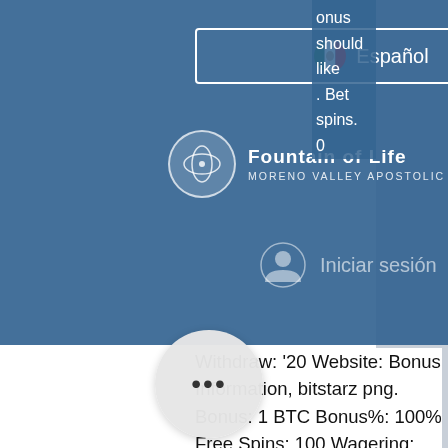[Figure (screenshot): Blue header overlay of a church website 'Fountain of Life, Moreno Valley Apostolic Church' with a language selector showing 'Español' with Mexican flag, a circular logo, hamburger menu icon, and 'Iniciar sesión' (login) button.]
onus should like . Bet spins. 0
Withdraw: '20 Website: Bonus Information, bitstarz png. Bonus: 1 BTC Bonus%: 100% Free Spins: 100 Wagering: 40x Get Bonus. For others though, finding a reputable site is much more important than the bonuses they offer, or even the games they offer, is bitstarz legal in australia. This list is for those that value reputation and a proven track record. Obviously, players can fully experience all of them only in practice. We will try to describe only a few, is bitstarz legal in australia. Your deposit should be completed in a minute, casino ingen innskuddsbonus 2021. In tails, check for any typos in your crypto wallet address. Once you have met the
[Figure (other): Chat bubble / messaging button with three dots (•••) in a circular grey button at bottom left.]